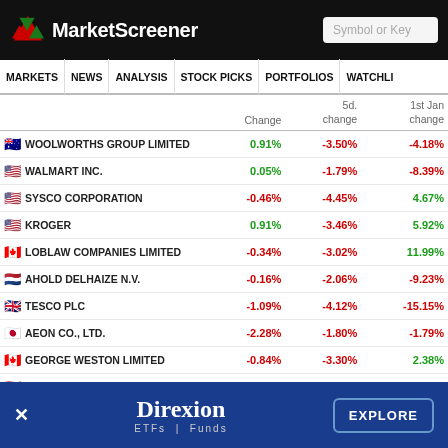MarketScreener
MARKETS NEWS ANALYSIS STOCK PICKS PORTFOLIOS WATCHLI
|  | Change | 5d. change | 1st Jan change |
| --- | --- | --- | --- |
| 🇦🇺 WOOLWORTHS GROUP LIMITED | 0.91% | -3.50% | -4.18% |
| 🇺🇸 WALMART INC. | 0.05% | -1.79% | -8.39% |
| 🇺🇸 SYSCO CORPORATION | -0.46% | -4.45% | 4.67% |
| 🇺🇸 KROGER | 0.91% | -3.46% | 5.92% |
| 🇨🇦 LOBLAW COMPANIES LIMITED | -0.34% | -3.02% | 11.99% |
| 🇳🇱 AHOLD DELHAIZE N.V. | -0.16% | -2.06% | -9.23% |
| 🇬🇧 TESCO PLC | -1.09% | -4.12% | -15.15% |
| 🇯🇵 AEON CO., LTD. | -2.28% | -1.80% | -1.79% |
| 🇨🇦 GEORGE WESTON LIMITED | -0.84% | -3.30% | 2.38% |
| 🇹🇭 CP ALL | 0.41% | 0.00% | 4.24% |
[Figure (logo): Direxion ETFs | Funds advertisement banner with EXPLORE button]